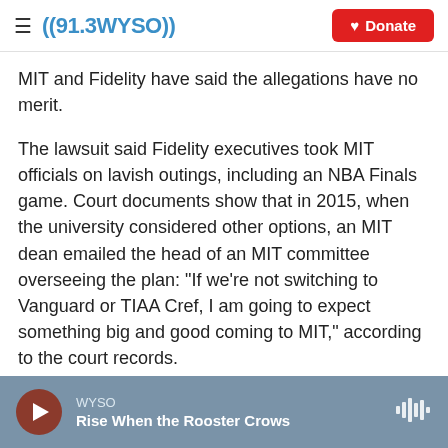((91.3WYSO)) Donate
MIT and Fidelity have said the allegations have no merit.
The lawsuit said Fidelity executives took MIT officials on lavish outings, including an NBA Finals game. Court documents show that in 2015, when the university considered other options, an MIT dean emailed the head of an MIT committee overseeing the plan: "If we're not switching to Vanguard or TIAA Cref, I am going to expect something big and good coming to MIT," according to the court records.
WYSO | Rise When the Rooster Crows